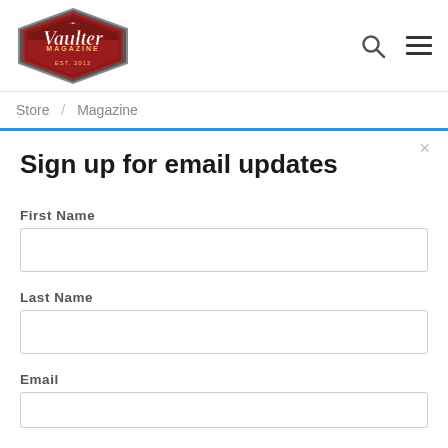Vaulter Magazine EST. 2012
Store / Magazine
Sign up for email updates
First Name
Last Name
Email